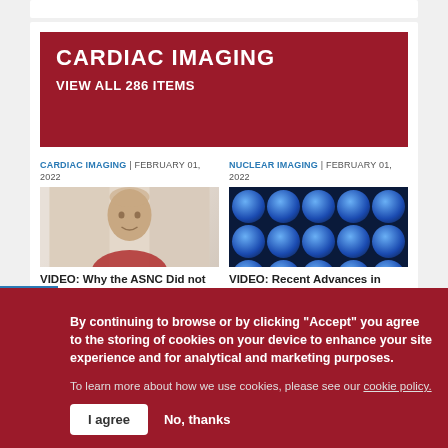CARDIAC IMAGING
VIEW ALL 286 ITEMS
CARDIAC IMAGING | FEBRUARY 01, 2022
[Figure (photo): Thumbnail of a person's face for a cardiac imaging video article]
VIDEO: Why the ASNC Did not Endorse the 2021 Chest Pain Guidelines
NUCLEAR IMAGING | FEBRUARY 01, 2022
[Figure (photo): Dark blue grid of circular nuclear imaging devices/detectors]
VIDEO: Recent Advances in Cardiac Nuclear Imaging
By continuing to browse or by clicking "Accept" you agree to the storing of cookies on your device to enhance your site experience and for analytical and marketing purposes.
To learn more about how we use cookies, please see our cookie policy.